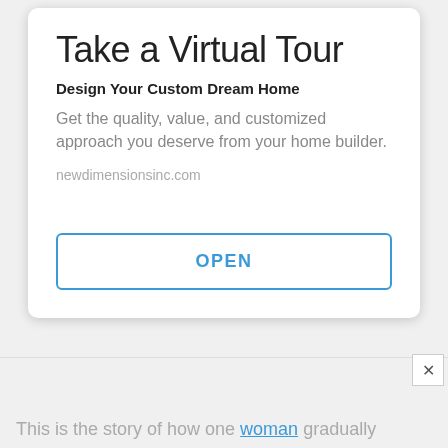Take a Virtual Tour
Design Your Custom Dream Home
Get the quality, value, and customized approach you deserve from your home builder.
newdimensionsinc.com
OPEN
This is the story of how one woman gradually